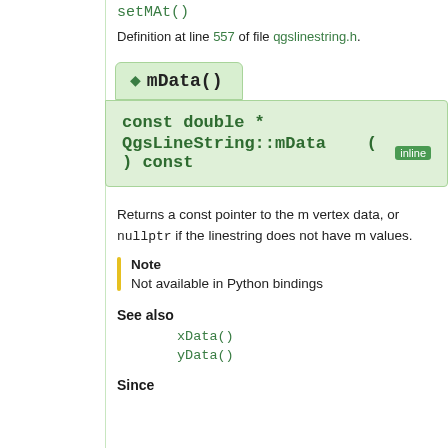setMAt()
Definition at line 557 of file qgslinestring.h.
◆ mData()
const double * QgsLineString::mData ( ) const inline
Returns a const pointer to the m vertex data, or nullptr if the linestring does not have m values.
Note
Not available in Python bindings
See also
xData()
yData()
Since